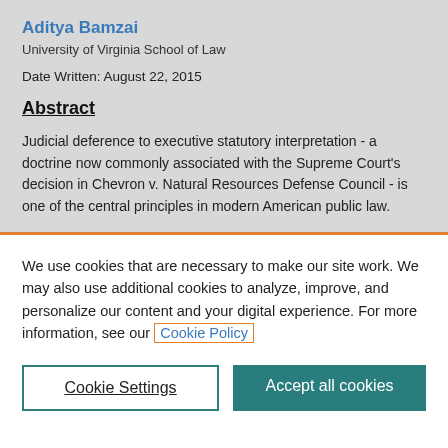Aditya Bamzai
University of Virginia School of Law
Date Written: August 22, 2015
Abstract
Judicial deference to executive statutory interpretation - a doctrine now commonly associated with the Supreme Court's decision in Chevron v. Natural Resources Defense Council - is one of the central principles in modern American public law.
We use cookies that are necessary to make our site work. We may also use additional cookies to analyze, improve, and personalize our content and your digital experience. For more information, see our Cookie Policy
Cookie Settings
Accept all cookies